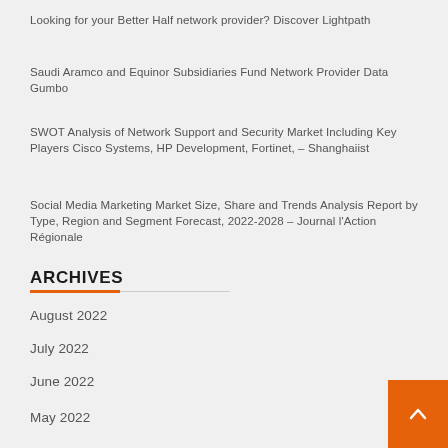Looking for your Better Half network provider? Discover Lightpath
Saudi Aramco and Equinor Subsidiaries Fund Network Provider Data Gumbo
SWOT Analysis of Network Support and Security Market Including Key Players Cisco Systems, HP Development, Fortinet, – Shanghaiist
Social Media Marketing Market Size, Share and Trends Analysis Report by Type, Region and Segment Forecast, 2022-2028 – Journal l'Action Régionale
ARCHIVES
August 2022
July 2022
June 2022
May 2022